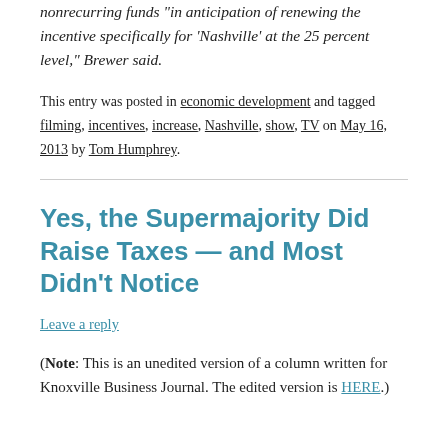nonrecurring funds "in anticipation of renewing the incentive specifically for 'Nashville' at the 25 percent level," Brewer said.
This entry was posted in economic development and tagged filming, incentives, increase, Nashville, show, TV on May 16, 2013 by Tom Humphrey.
Yes, the Supermajority Did Raise Taxes — and Most Didn't Notice
Leave a reply
(Note: This is an unedited version of a column written for Knoxville Business Journal. The edited version is HERE.)